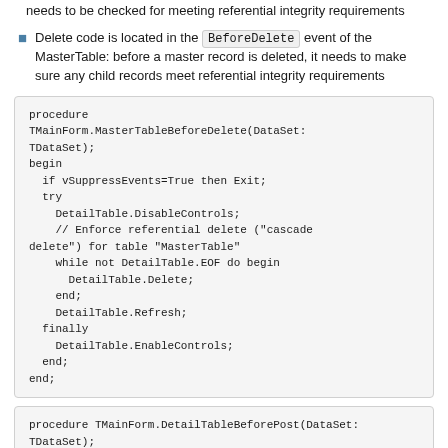needs to be checked for meeting referential integrity requirements
Delete code is located in the BeforeDelete event of the MasterTable: before a master record is deleted, it needs to make sure any child records meet referential integrity requirements